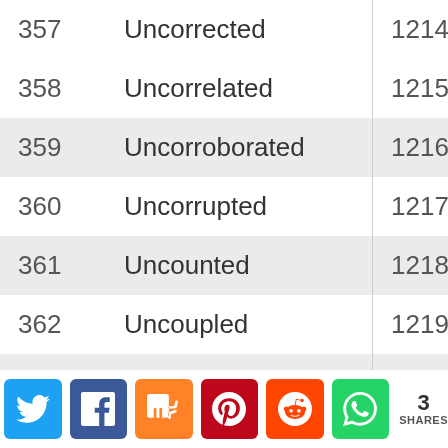| # | Word | # | Word |
| --- | --- | --- | --- |
| 357 | Uncorrected | 1214 | Unrelaxed |
| 358 | Uncorrelated | 1215 | Unreleased |
| 359 | Uncorroborated | 1216 | Unrelenting |
| 360 | Uncorrupted | 1217 | Unreliable |
| 361 | Uncounted | 1218 | Unrelieved |
| 362 | Uncoupled | 1219 | Unremarked |
| 363 | Uncousinly | 1220 | Unremarked |
| 364 | Uncouth | 1221 | Unremedied |
| 365 | Uncovered | 1222 | Unremitting |
[Figure (other): Social sharing bar with Twitter, Facebook, Mix, Pinterest, Reddit, WhatsApp buttons and a share count of 3 SHARES]